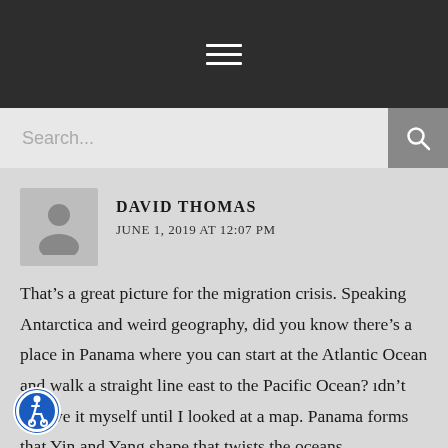Navigation menu (hamburger icon)
Search...
DAVID THOMAS
JUNE 1, 2019 AT 12:07 PM
That’s a great picture for the migration crisis. Speaking Antarctica and weird geography, did you know there’s a place in Panama where you can start at the Atlantic Ocean and walk a straight line east to the Pacific Ocean? ıdn’t believe it myself until I looked at a map. Panama forms that Yin and Yang shape that twists the oceans